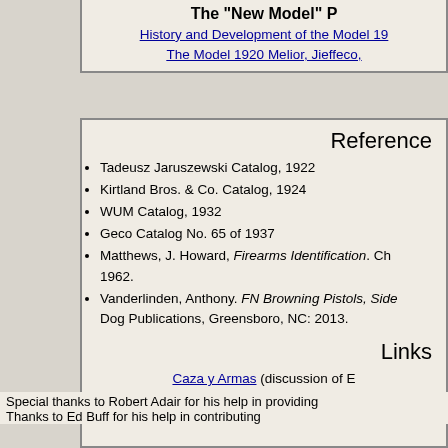The "New Model" P — History and Development of the Model 19... The Model 1920 Melior, Jieffeco,
Reference
Tadeusz Jaruszewski Catalog, 1922
Kirtland Bros. & Co. Catalog, 1924
WUM Catalog, 1932
Geco Catalog No. 65 of 1937
Matthews, J. Howard, Firearms Identification. Ch 1962.
Vanderlinden, Anthony. FN Browning Pistols, Side Dog Publications, Greensboro, NC: 2013.
Links
Caza y Armas (discussion of E
Acknowledgm
Special thanks to Robert Adair for his help in providing Thanks to Ed Buff for his help in contributing